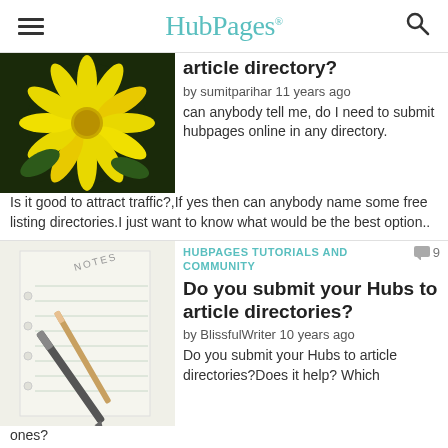HubPages
[Figure (photo): Yellow daisy flower on dark background]
article directory?
by sumitparihar 11 years ago
can anybody tell me, do I need to submit hubpages online in any directory.Is it good to attract traffic?,If yes then can anybody name some free listing directories.I just want to know what would be the best option..
HUBPAGES TUTORIALS AND COMMUNITY
[Figure (photo): Notepad with pen and pencil on lined paper]
Do you submit your Hubs to article directories?
by BlissfulWriter 10 years ago
Do you submit your Hubs to article directories?Does it help?  Which ones?